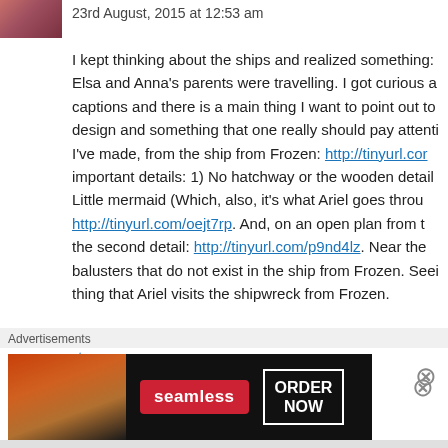23rd August, 2015 at 12:53 am
I kept thinking about the ships and realized something: Elsa and Anna's parents were travelling. I got curious a captions and there is a main thing I want to point out to design and something that one really should pay attenti I've made, from the ship from Frozen: http://tinyurl.com important details: 1) No hatchway or the wooden detail Little mermaid (Which, also, it's what Ariel goes throu http://tinyurl.com/oejt7rp. And, on an open plan from t the second detail: http://tinyurl.com/p9nd4lz. Near the balusters that do not exist in the ship from Frozen. Seei thing that Ariel visits the shipwreck from Frozen.
Like
Reply
Advertisements
[Figure (other): Seamless food delivery advertisement banner with pizza image, Seamless red logo badge, and ORDER NOW button in white border on dark background]